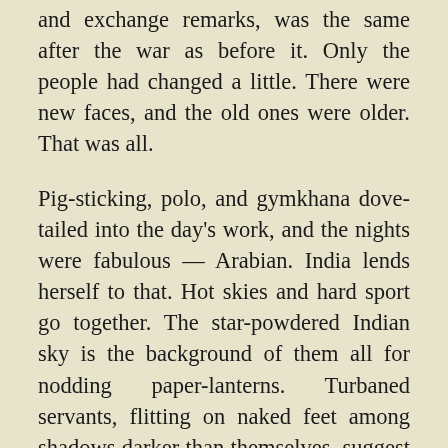and exchange remarks, was the same after the war as before it. Only the people had changed a little. There were new faces, and the old ones were older. That was all.
Pig-sticking, polo, and gymkhana dove-tailed into the day's work, and the nights were fabulous — Arabian. India lends herself to that. Hot skies and hard sport go together. The star-powdered Indian sky is the background of them all for nodding paper-lanterns. Turbaned servants, flitting on naked feet among shadows darker than themselves, suggest intrigue that never sleeps. A khaki uniform looks golden, a white one silver, and a woman's bare shoulders